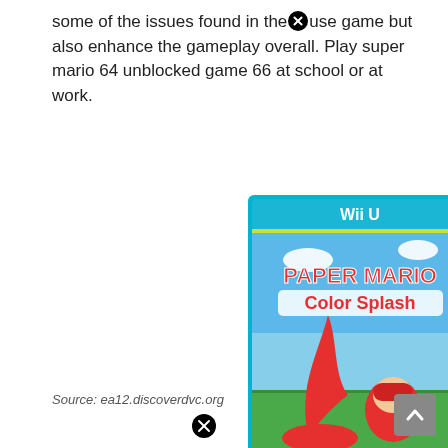some of the issues found in the [X] use game but also enhance the gameplay overall. Play super mario 64 unblocked game 66 at school or at work.
[Figure (photo): Wii U game box cover for Paper Mario: Color Splash, showing Mario splashing paint, with the Nintendo and Wii U logos, ESRB E rating.]
Source: ea12.discoverdvc.org